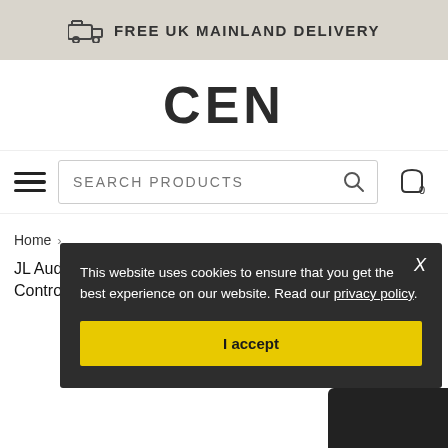FREE UK MAINLAND DELIVERY
[Figure (logo): CEN logo in bold black sans-serif text]
[Figure (screenshot): Navigation bar with hamburger menu, search products input, and cart icon showing 0]
Home > JL Audio DRC-1 - Fully Illuminated Digital Remote Control LED for JLid Products
This website uses cookies to ensure that you get the best experience on our website. Read our privacy policy. I accept